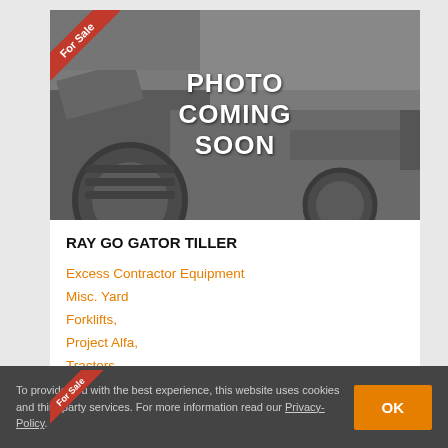[Figure (photo): Grayscale placeholder image for a RAY GO GATOR TILLER listing with 'PHOTO COMING SOON' text overlaid and a red 'For Sale' ribbon banner in the top-left corner]
RAY GO GATOR TILLER
Excess Contractor Equipment
Misc. Yard
Forklifts,
Project Alfa,
Tractors,
[Figure (photo): Grayscale image (partially visible) of another equipment listing with a red 'For Sale' ribbon banner in the top-left corner]
To provide you with the best experience, this website uses cookies and third party services. For more information read our Privacy-Policy.